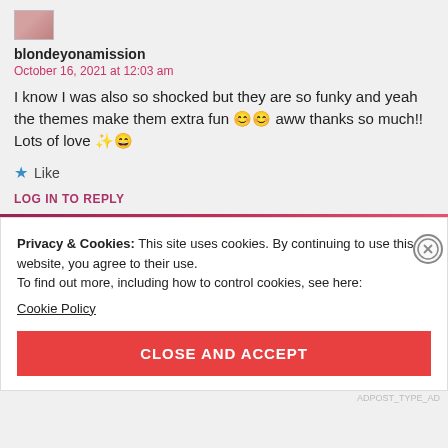[Figure (photo): Small avatar/profile image thumbnail at top]
blondeyonamission
October 16, 2021 at 12:03 am
I know I was also so shocked but they are so funky and yeah the themes make them extra fun 😊😊 aww thanks so much!! Lots of love ✨😄
★ Like
LOG IN TO REPLY
Privacy & Cookies: This site uses cookies. By continuing to use this website, you agree to their use.
To find out more, including how to control cookies, see here:
Cookie Policy
CLOSE AND ACCEPT